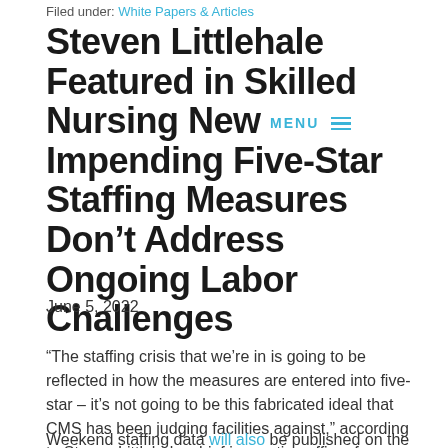Filed under: White Papers & Articles
Steven Littlehale Featured in Skilled Nursing New Impending Five-Star Staffing Measures Don't Address Ongoing Labor Challenges
June 5, 2022
“The staffing crisis that we’re in is going to be reflected in how the measures are entered into five-star – it’s not going to be this fabricated ideal that CMS has been judging facilities against,” according to Steven Littlehale, chief innovation officer for Zimmet Healthcare Services Group.
Weekend staffing data will also be published on the